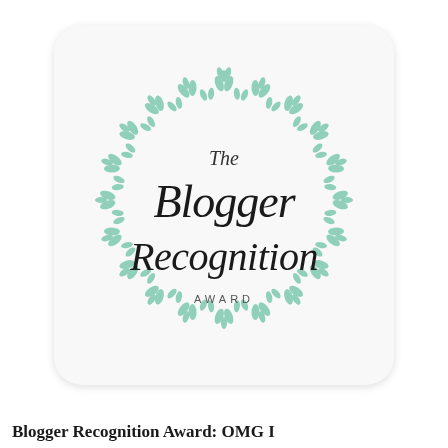[Figure (logo): The Blogger Recognition Award badge: a circular laurel/leaf wreath in mint green surrounding script text reading 'The Blogger Recognition AWARD' in black. The badge is on a light gray rounded-rectangle card with a subtle drop shadow.]
Blogger Recognition Award: OMG I